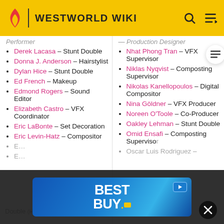WESTWORLD WIKI
Derek Lacasa – Stunt Double
Donna J. Anderson – Hairstylist
Dylan Hice – Stunt Double
Ed French – Makeup
Edmond Rogers – Sound Editor
Elizabeth Castro – VFX Coordinator
Eric LaBonte – Set Decoration
Eric Levin-Hatz – Compositor
Nhat Phong Tran – VFX Supervisor
Niklas Nyqvist – Composting Supervisor
Nikolas Kanellopoulos – Digital Compositor
Nina Göldner – VFX Producer
Noreen O'Toole – Co-Producer
Oakley Lehman – Stunt Double
Omid Ensafi – Composting Supervisor
Oscar Luis Rodriguez –
[Figure (screenshot): Best Buy advertisement banner overlay at the bottom of the page]